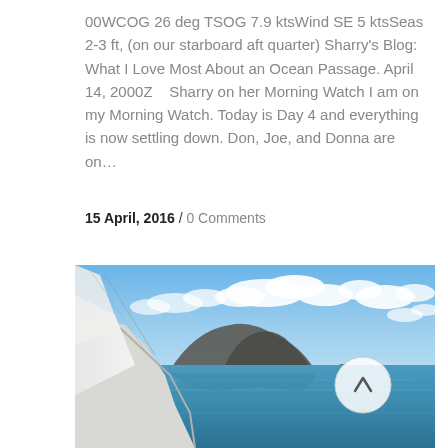00WCOG 26 deg TSOG 7.9 ktsWind SE 5 ktsSeas 2-3 ft, (on our starboard aft quarter) Sharry's Blog: What I Love Most About an Ocean Passage. April 14, 2000Z    Sharry on her Morning Watch I am on my Morning Watch. Today is Day 4 and everything is now settling down. Don, Joe, and Donna are on...
15 April, 2016 / 0 Comments
[Figure (photo): View from the deck of a sailboat looking out at calm blue ocean water with a mountainous island (Diamond Head / Oahu area) in the background under a partly cloudy blue sky.]